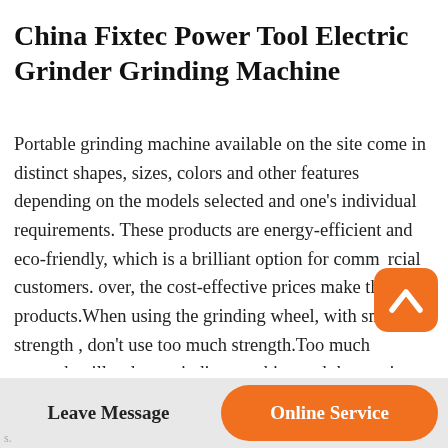China Fixtec Power Tool Electric Grinder Grinding Machine
Portable grinding machine available on the site come in distinct shapes, sizes, colors and other features depending on the models selected and one's individual requirements. These products are energy-efficient and eco-friendly, which is a brilliant option for commercial customers. over, the cost-effective prices make these products.When using the grinding wheel, with small strength , don't use too much strength.Too much strength will reduce grinding machine and the service life of the grinding wheel. 3. After using, clean the water reservoir. Remove the reservoir, clean up the rest
[Figure (other): Orange rounded square button with white upward chevron/arrow icon, floating on right side of page]
Leave Message   Online Service